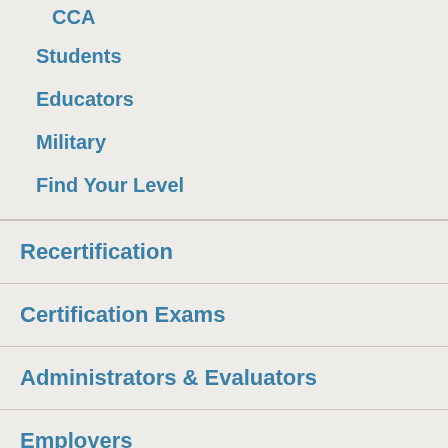CCA
Students
Educators
Military
Find Your Level
Recertification
Certification Exams
Administrators & Evaluators
Employers
Certification Matters